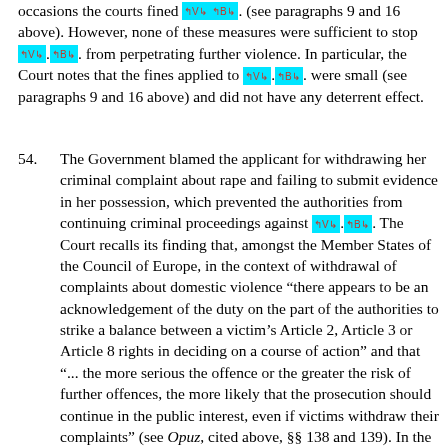occasions the courts fined [V].[B]. (see paragraphs 9 and 16 above). However, none of these measures were sufficient to stop [V].[B]. from perpetrating further violence. In particular, the Court notes that the fines applied to [V].[B]. were small (see paragraphs 9 and 16 above) and did not have any deterrent effect.
54.   The Government blamed the applicant for withdrawing her criminal complaint about rape and failing to submit evidence in her possession, which prevented the authorities from continuing criminal proceedings against [V].[B]. The Court recalls its finding that, amongst the Member States of the Council of Europe, in the context of withdrawal of complaints about domestic violence “there appears to be an acknowledgement of the duty on the part of the authorities to strike a balance between a victim’s Article 2, Article 3 or Article 8 rights in deciding on a course of action” and that “... the more serious the offence or the greater the risk of further offences, the more likely that the prosecution should continue in the public interest, even if victims withdraw their complaints” (see Opuz, cited above, §§ 138 and 139). In the present case, the authorities did not make an analysis of whether the seriousness and number of attacks which the first applicant had suffered on the part of [V].[B]. and the seriousness of the first allegation of rape had required to